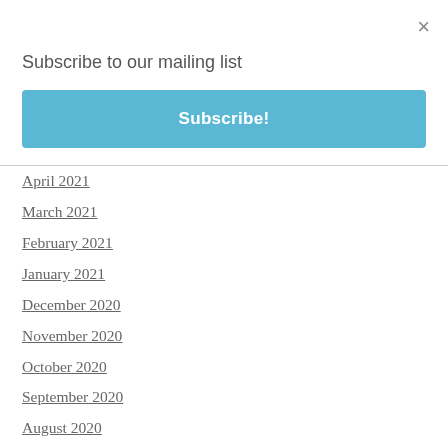×
Subscribe to our mailing list
[Figure (other): Blue Subscribe! button]
April 2021
March 2021
February 2021
January 2021
December 2020
November 2020
October 2020
September 2020
August 2020
July 2020
June 2020
May 2020
April 2020
March 2020